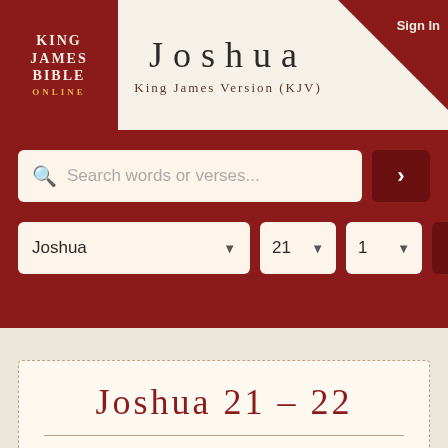Joshua — King James Version (KJV)
[Figure (screenshot): Search bar with placeholder 'Search words or verses...' and a dark red go button with right arrow]
[Figure (screenshot): Dropdown selectors for Book (Joshua), Chapter (21), Verse (1), with a dark red go button]
Joshua 21 – 22